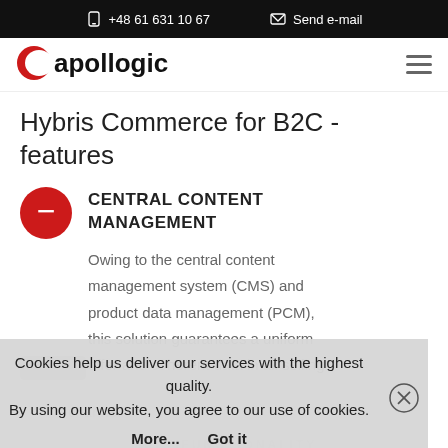+48 61 631 10 67   Send e-mail
[Figure (logo): Apollogic company logo with red crescent and black text]
Hybris Commerce for B2C - features
CENTRAL CONTENT MANAGEMENT
Owing to the central content management system (CMS) and product data management (PCM), this solution guarantees a uniform offer and coherent data in all selling channel
Cookies help us deliver our services with the highest quality. By using our website, you agree to our use of cookies.
More...   Got it